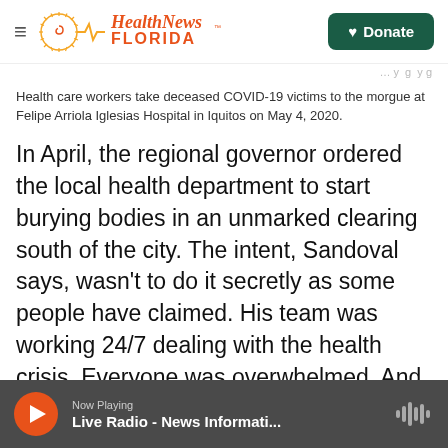Health News Florida — Donate
Health care workers take deceased COVID-19 victims to the morgue at Felipe Arriola Iglesias Hospital in Iquitos on May 4, 2020.
In April, the regional governor ordered the local health department to start burying bodies in an unmarked clearing south of the city. The intent, Sandoval says, wasn't to do it secretly as some people have claimed. His team was working 24/7 dealing with the health crisis. Everyone was overwhelmed. And health officials were simply trying to deal with the huge backlog of cadavers, he says.
Now Playing — Live Radio - News Informati...